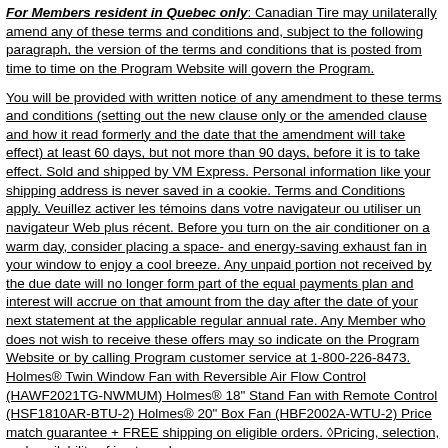For Members resident in Quebec only: Canadian Tire may unilaterally amend any of these terms and conditions and, subject to the following paragraph, the version of the terms and conditions that is posted from time to time on the Program Website will govern the Program.
You will be provided with written notice of any amendment to these terms and conditions (setting out the new clause only or the amended clause and how it read formerly and the date that the amendment will take effect) at least 60 days, but not more than 90 days, before it is to take effect. Sold and shipped by VM Express. Personal information like your shipping address is never saved in a cookie. Terms and Conditions apply. Veuillez activer les témoins dans votre navigateur ou utiliser un navigateur Web plus récent. Before you turn on the air conditioner on a warm day, consider placing a space- and energy-saving exhaust fan in your window to enjoy a cool breeze. Any unpaid portion not received by the due date will no longer form part of the equal payments plan and interest will accrue on that amount from the day after the date of your next statement at the applicable regular annual rate. Any Member who does not wish to receive these offers may so indicate on the Program Website or by calling Program customer service at 1-800-226-8473. Holmes® Twin Window Fan with Reversible Air Flow Control (HAWF2021TG-NWMUM) Holmes® 18" Stand Fan with Remote Control (HSF1810AR-BTU-2) Holmes® 20" Box Fan (HBF2002A-WTU-2) Price match guarantee + FREE shipping on eligible orders. ◊Pricing, selection, and availability of in-store clearance